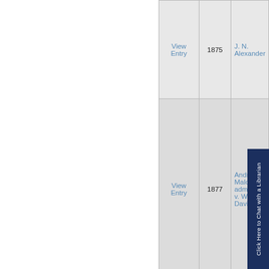| Action | Year | Name |
| --- | --- | --- |
| View Entry | 1875 | J. N. Alexander |
| View Entry | 1877 | Andrew Malone, admr., et v. William Davidson |
[Figure (other): Click Here to Chat with a Librarian sidebar button]